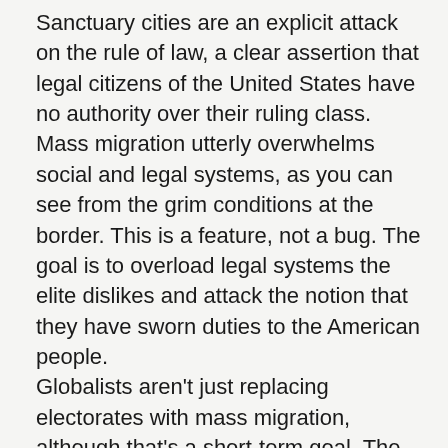Sanctuary cities are an explicit attack on the rule of law, a clear assertion that legal citizens of the United States have no authority over their ruling class. Mass migration utterly overwhelms social and legal systems, as you can see from the grim conditions at the border. This is a feature, not a bug. The goal is to overload legal systems the elite dislikes and attack the notion that they have sworn duties to the American people.
Globalists aren't just replacing electorates with mass migration, although that's a short-term goal. The long term goal is to utterly destroy the idea that ANY electorate has power and authority over THEM. The goal is elevate power beyond the reach of representative government.
You can't have representative democracy when it's no longer clear who, exactly, is being represented or how they can compel their "representatives" to address the issues important to them. The whole